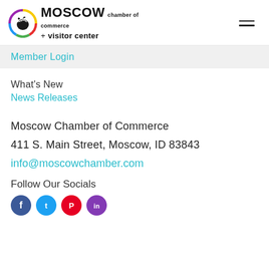[Figure (logo): Moscow Chamber of Commerce + Visitor Center logo with circular emblem and text]
Member Login
What's New
News Releases
Moscow Chamber of Commerce
411 S. Main Street, Moscow, ID 83843
info@moscowchamber.com
Follow Our Socials
[Figure (illustration): Row of social media icon circles (Facebook, Twitter/X, Pinterest/red, purple)]